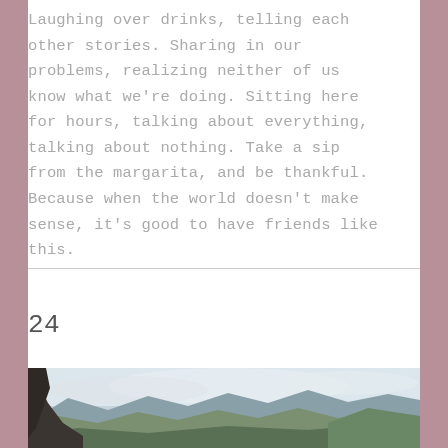Laughing over drinks, telling each other stories. Sharing in our problems, realizing neither of us know what we're doing. Sitting here for hours, talking about everything, talking about nothing. Take a sip from the margarita, and be thankful. Because when the world doesn't make sense, it's good to have friends like this.
24
[Figure (photo): Landscape photograph showing rugged rocky cliffs on the left and layered mountain ranges extending into the distance under a cloudy sky, with green vegetation visible on the slopes.]